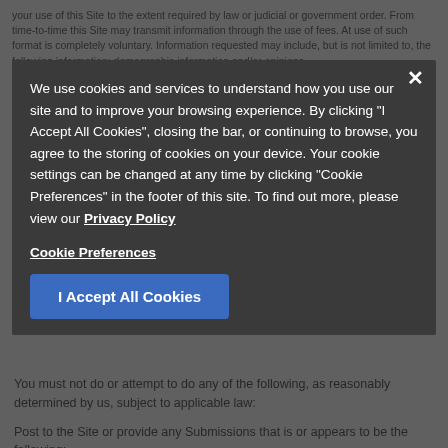your use of this Site to the extent required by law or judicial or government order. From time-to-time this Site may transmit information through the use of fees. At use of such format is completely voluntary. Information requested may include, but is not limited to, the following information: demographic information and/or opinions. Under no circumstance are we responsible for any Submission to the Site or for the content of that Submission, nor shall we be held liable for any of the claims made therein. We are not responsible for the content or privacy of these Submissions, and the views and opinions they express are solely those of the original
We use cookies and services to understand how you use our site and to improve your browsing experience. By clicking "I Accept All Cookies", closing the bar, or continuing to browse, you agree to the storing of cookies on your device. Your cookie settings can be changed at any time by clicking "Cookie Preferences" in the footer of this site. To find out more, please view our Privacy Policy
Cookie Preferences
I Accept All Cookies
You must not do or attempt to do any of the following, as reasonably determined by us, subject to applicable law:
Post to the Site or provide any Submissions that is or appears to be the following:
untrue, misleading, harmful, threatening, abusive, harassing, defamatory, vulgar, obscene, invasive to another person's